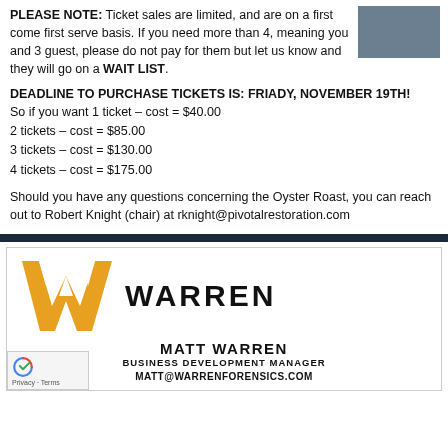PLEASE NOTE: Ticket sales are limited, and are on a first come first serve basis. If you need more than 4, meaning you and 3 guest, please do not pay for them but let us know and they will go on a WAIT LIST.
DEADLINE TO PURCHASE TICKETS IS: FRIADY, NOVEMBER 19TH!
So if you want 1 ticket – cost = $40.00
2 tickets – cost = $85.00
3 tickets – cost = $130.00
4 tickets – cost = $175.00
Should you have any questions concerning the Oyster Roast, you can reach out to Robert Knight (chair) at rknight@pivotalrestoration.com
[Figure (logo): Warren Forensics business card with orange W logo and WARREN text, showing Matt Warren, Business Development Manager, MATT@WARRENFORENSICS.COM]